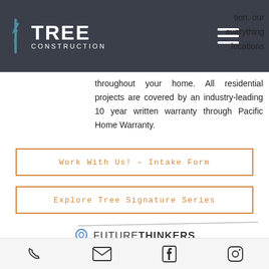[Figure (logo): Tree Construction company logo — stylized lightning bolt icon beside bold text TREE with CONSTRUCTION below, on dark gray nav bar]
tion, our everything locations throughout your home. All residential projects are covered by an industry-leading 10 year written warranty through Pacific Home Warranty.
Work With Us! – Intake Form
Explore Tree Signature Series
[Figure (logo): FUTURE THINKERS logo with brain icon]
[Figure (logo): BC Housing Licensed Builder logo]
[Figure (logo): Certified House Person / Tradesperson badge logo]
[Figure (logo): BCCA British Columbia Construction Association logo]
[Figure (logo): Green Building Council / HBNC circular logo]
[Figure (logo): CHBA Member logo with maple leaf house]
[Figure (infographic): Footer bar with phone, email, Facebook, and Instagram icons]